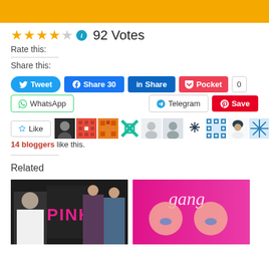[Figure (other): Gold/yellow banner bar at top of page]
★★★★☆ ℹ 92 Votes
Rate this:
Share this:
Tweet | Share 30 | Share | Pocket 0 | WhatsApp | Telegram | Save
[Figure (other): Like button followed by a strip of 11 blogger avatar icons]
14 bloggers like this.
Related
[Figure (photo): Movie poster for 'PINK' showing an older man in white and three women]
[Figure (photo): Movie poster for 'gang' showing two women with painted faces in pink tones]